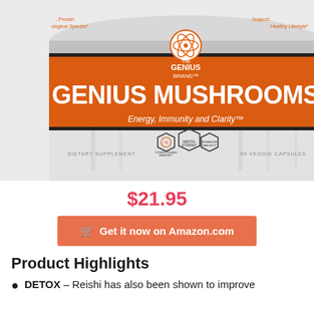[Figure (photo): Product photo of Genius Mushrooms supplement container by The Genius Brand. White and silver canister with large orange band showing 'GENIUS MUSHROOMS' in white text. Tagline: 'Energy, Immunity and Clarity'. Shows 'Dietary Supplement', '90 Veggie Capsules', and hexagonal icons for Cognition and Memory, Mental Stamina, Advanced Immunity.]
$21.95
Get it now on Amazon.com
Product Highlights
DETOX – Reishi has also been shown to improve